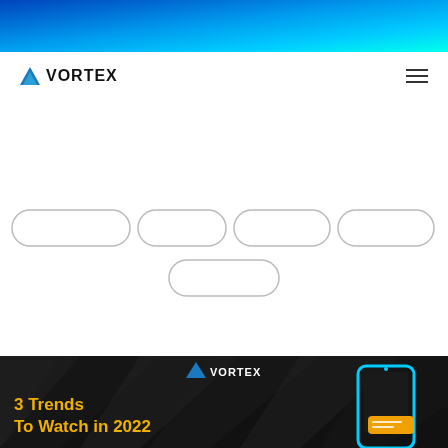[Figure (screenshot): Top gradient banner — blue to cyan gradient]
[Figure (logo): Vortex logo with triangle icon and hamburger menu on white nav bar]
[Figure (infographic): Five rounded pill/capsule outlines on white background — 4 in a row and 1 centered below]
[Figure (infographic): Bottom dark section with Vortex logo, dark triangle pattern background, yellow headline '3 Trends To Watch in 2022', and phone mockup with chat bubbles on the right]